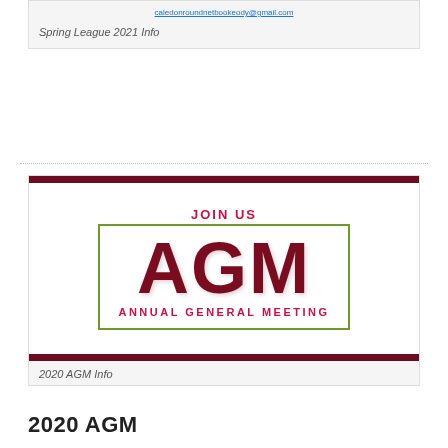caledonroundnetbookeody@gmail.com
Spring League 2021 Info
[Figure (illustration): AGM promotional banner with 'JOIN US' text, large 'AGM' letters in dark red, and 'ANNUAL GENERAL MEETING' text, framed with a green border and dark red top/bottom bars]
2020 AGM Info
2020 AGM